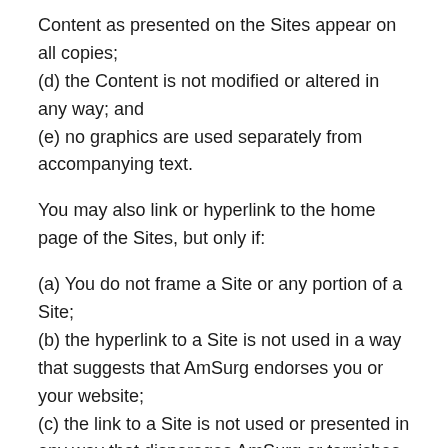Content as presented on the Sites appear on all copies;
(d) the Content is not modified or altered in any way; and
(e) no graphics are used separately from accompanying text.
You may also link or hyperlink to the home page of the Sites, but only if:
(a) You do not frame a Site or any portion of a Site;
(b) the hyperlink to a Site is not used in a way that suggests that AmSurg endorses you or your website;
(c) the link to a Site is not used or presented in any way that disparages AmSurg or tarnishes,